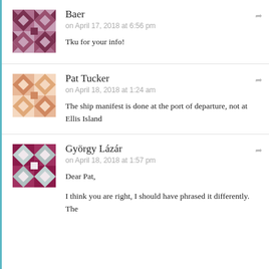Baer
on April 17, 2018 at 6:56 pm
Tku for your info!
Pat Tucker
on April 18, 2018 at 1:24 am
The ship manifest is done at the port of departure, not at Ellis Island
György Lázár
on April 18, 2018 at 1:57 pm
Dear Pat,

I think you are right, I should have phrased it differently. The